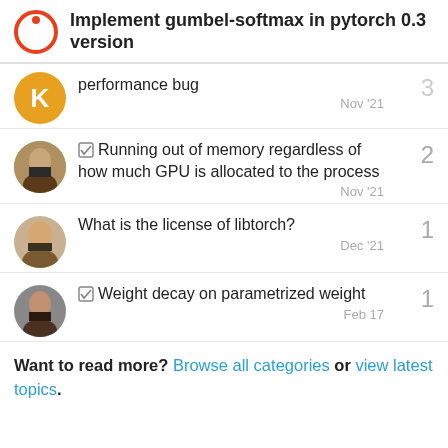Implement gumbel-softmax in pytorch 0.3 version
performance bug | 3 | Nov '21
✓ Running out of memory regardless of how much GPU is allocated to the process | 2 | Nov '21
What is the license of libtorch? | 1 | Dec '21
✓ Weight decay on parametrized weight | 1 | Feb 17
Want to read more? Browse all categories or view latest topics.